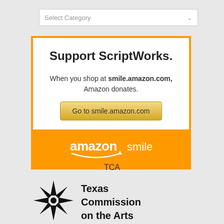[Figure (screenshot): Dropdown selector with 'Select Category' placeholder and chevron icon]
[Figure (infographic): Amazon Smile promotional box with orange border. Title: 'Support ScriptWorks.' Body: 'When you shop at smile.amazon.com, Amazon donates.' Button: 'Go to smile.amazon.com'. Orange footer with amazonsmile logo.]
TCA
[Figure (logo): Texas Commission on the Arts logo — black star burst icon with text 'Texas Commission on the Arts']